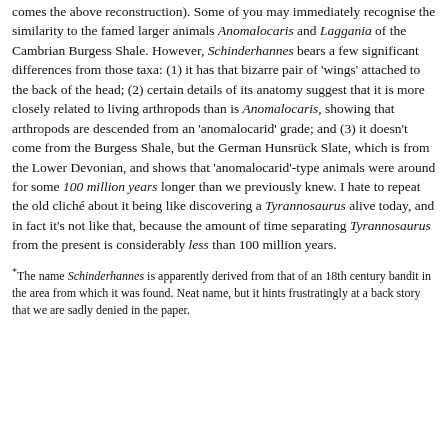comes the above reconstruction). Some of you may immediately recognise the similarity to the famed larger animals Anomalocaris and Laggania of the Cambrian Burgess Shale. However, Schinderhannes bears a few significant differences from those taxa: (1) it has that bizarre pair of 'wings' attached to the back of the head; (2) certain details of its anatomy suggest that it is more closely related to living arthropods than is Anomalocaris, showing that arthropods are descended from an 'anomalocarid' grade; and (3) it doesn't come from the Burgess Shale, but the German Hunsrück Slate, which is from the Lower Devonian, and shows that 'anomalocarid'-type animals were around for some 100 million years longer than we previously knew. I hate to repeat the old cliché about it being like discovering a Tyrannosaurus alive today, and in fact it's not like that, because the amount of time separating Tyrannosaurus from the present is considerably less than 100 million years.
*The name Schinderhannes is apparently derived from that of an 18th century bandit in the area from which it was found. Neat name, but it hints frustratingly at a back story that we are sadly denied in the paper.